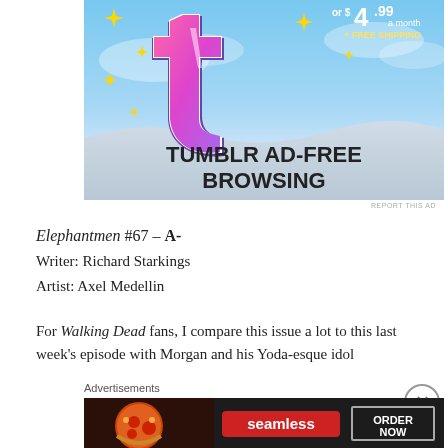[Figure (screenshot): Tumblr ad banner showing Tumblr logo with sparkles, text 'TUMBLR AD-FREE BROWSING' and price 'or $4.99 a month + FREE SHIPPING' on a light blue sky background]
REPORT THIS AD
Elephantmen #67 – A-
Writer: Richard Starkings
Artist: Axel Medellin
For Walking Dead fans, I compare this issue a lot to this last week's episode with Morgan and his Yoda-esque idol
Advertisements
[Figure (screenshot): Seamless food delivery ad with pizza image on dark background, red 'seamless' button, and 'ORDER NOW' button with border]